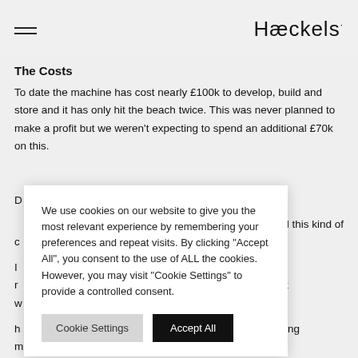Hæckels·
The Costs
To date the machine has cost nearly £100k to develop, build and store and it has only hit the beach twice. This was never planned to make a profit but we weren't expecting to spend an additional £70k on this.
[partially obscured] ...ess and this kind of [obscured content behind cookie modal]
We use cookies on our website to give you the most relevant experience by remembering your preferences and repeat visits. By clicking "Accept All", you consent to the use of ALL the cookies. However, you may visit "Cookie Settings" to provide a controlled consent.
Cookie Settings
Accept All